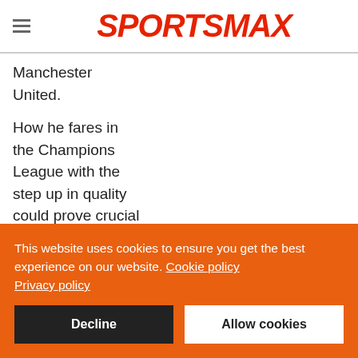SPORTSMAX
Manchester United.
How he fares in the Champions League with the step up in quality could prove crucial with respect to his short-term future.
This website uses cookies to ensure you get the best experience on our website. Cookie policy Privacy policy
Decline | Allow cookies